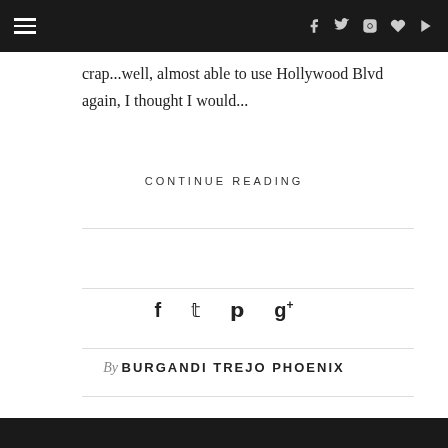[Navigation bar with hamburger menu and social icons]
crap...well, almost able to use Hollywood Blvd again, I thought I would...
CONTINUE READING
By BURGANDI TREJO PHOENIX
[Bottom dark bar]